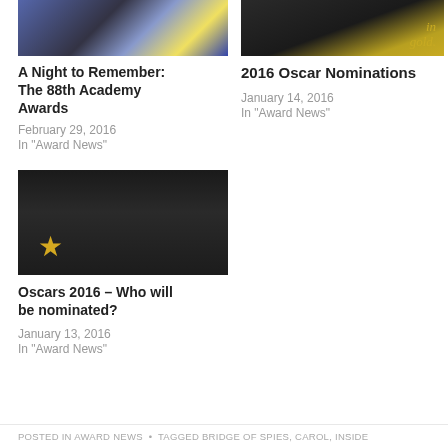[Figure (photo): Photo of people at the 88th Academy Awards ceremony, showing figures in formal attire including a blue dress]
[Figure (photo): Dark background image with gold cursive handwritten text reading 'in gold.']
A Night to Remember: The 88th Academy Awards
February 29, 2016
In "Award News"
2016 Oscar Nominations
January 14, 2016
In "Award News"
[Figure (photo): Photo of Oscar statuettes at the 2016 ceremony, gold trophies visible with audience in background]
Oscars 2016 – Who will be nominated?
January 13, 2016
In "Award News"
POSTED IN AWARD NEWS  •  TAGGED BRIDGE OF SPIES, CAROL, INSIDE